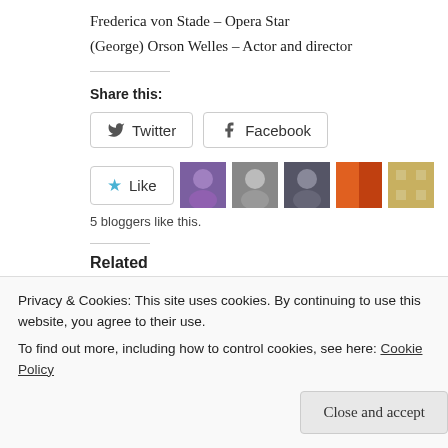Frederica von Stade – Opera Star
(George) Orson Welles – Actor and director
Share this:
[Figure (other): Twitter and Facebook share buttons]
[Figure (other): Like button with 5 blogger avatars]
5 bloggers like this.
Related
[Figure (photo): Two related article thumbnail images]
Privacy & Cookies: This site uses cookies. By continuing to use this website, you agree to their use.
To find out more, including how to control cookies, see here: Cookie Policy
Close and accept